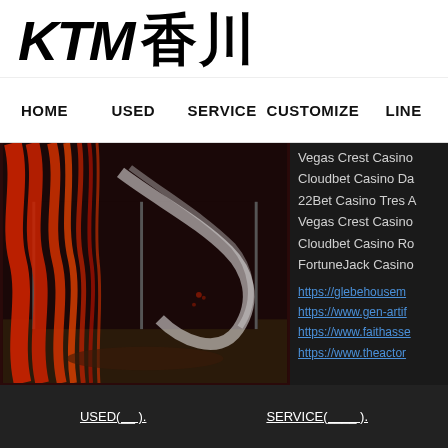KTM 香川
HOME  USED  SERVICE  CUSTOMIZE  LINE
[Figure (photo): Abstract red and white curtain/ribbon art installation photo against dark background]
Vegas Crest Casino
Cloudbet Casino Da
22Bet Casino Tres A
Vegas Crest Casino
Cloudbet Casino Ro
FortuneJack Casino
https://glebehousem
https://www.gen-artif
https://www.faithasse
https://www.theactor
USED(__).    SERVICE(____).